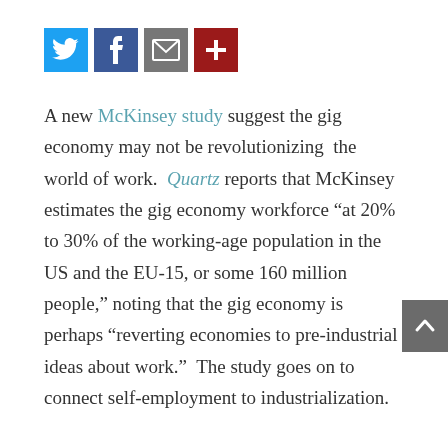[Figure (other): Social media sharing icons: Twitter (blue bird), Facebook (blue f), Email (gray envelope), Plus/more (dark red plus sign)]
A new McKinsey study suggest the gig economy may not be revolutionizing the world of work. Quartz reports that McKinsey estimates the gig economy workforce “at 20% to 30% of the working-age population in the US and the EU-15, or some 160 million people,” noting that the gig economy is perhaps “reverting economies to pre-industrial ideas about work.” The study goes on to connect self-employment to industrialization.